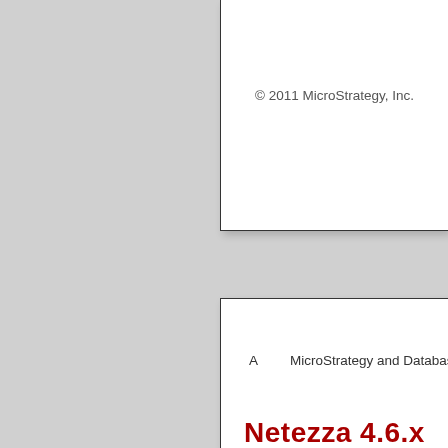© 2011 MicroStrategy, Inc.
A    MicroStrategy and Database Support for
Netezza 4.6.x
Function type
Basic functions